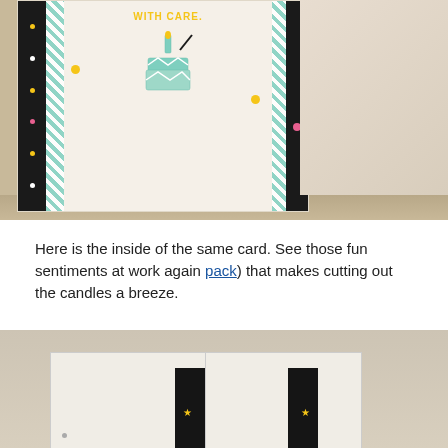[Figure (photo): Photo of the inside of a birthday card standing on a wooden surface. The card features decorative black and mint/teal striped tape on both sides, a cake illustration with a candle in mint and yellow colors, and yellow dot accents. The card stands against a linen/wooden background.]
Here is the inside of the same card. See those fun sentiments at work again pack) that makes cutting out the candles a breeze.
[Figure (photo): Photo of the bottom portion of an open greeting card on a beige surface, showing the card panels open flat with black decorative washi tape strips applied near the center fold area.]